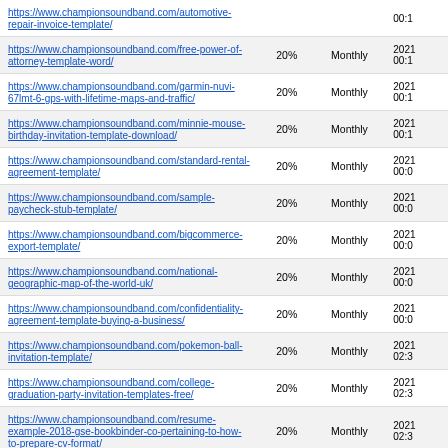| URL | % | Frequency | Date |
| --- | --- | --- | --- |
| https://www.championsoundband.com/automotive-repair-invoice-template/ |  |  | 00:1 |
| https://www.championsoundband.com/free-power-of-attorney-template-word/ | 20% | Monthly | 2021 00:1 |
| https://www.championsoundband.com/garmin-nuvi-67lmt-6-gps-with-lifetime-maps-and-traffic/ | 20% | Monthly | 2021 00:1 |
| https://www.championsoundband.com/minnie-mouse-birthday-invitation-template-download/ | 20% | Monthly | 2021 00:1 |
| https://www.championsoundband.com/standard-rental-agreement-template/ | 20% | Monthly | 2021 00:0 |
| https://www.championsoundband.com/sample-paycheck-stub-template/ | 20% | Monthly | 2021 00:0 |
| https://www.championsoundband.com/bigcommerce-export-template/ | 20% | Monthly | 2021 00:0 |
| https://www.championsoundband.com/national-geographic-map-of-the-world-uk/ | 20% | Monthly | 2021 00:0 |
| https://www.championsoundband.com/confidentiality-agreement-template-buying-a-business/ | 20% | Monthly | 2021 00:0 |
| https://www.championsoundband.com/pokemon-ball-invitation-template/ | 20% | Monthly | 2021 02:3 |
| https://www.championsoundband.com/college-graduation-party-invitation-templates-free/ | 20% | Monthly | 2021 02:3 |
| https://www.championsoundband.com/resume-example-2018-gse-bookbinder-co-pertaining-to-how-to-prepare-cv-format/ | 20% | Monthly | 2021 02:3 |
| https://www.championsoundband.com/garmin-off-road-maps-south-africa/ | 20% | Monthly | 2021 02:3 |